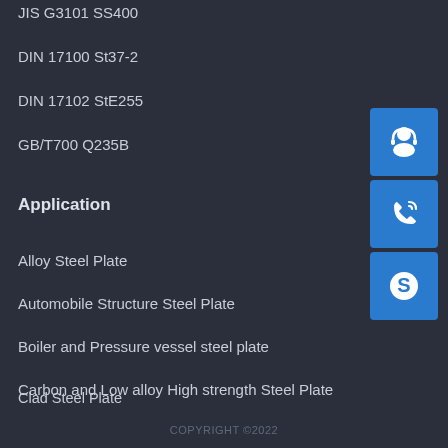JIS G3101 SS400
DIN 17100 St37-2
DIN 17102 StE255
GB/T700 Q235B
Application
Alloy Steel Plate
Automobile Structure Steel Plate
Boiler and Pressure vessel steel plate
Carbon and Low alloy High strength Steel Plate
Clad Steel Plate
[Figure (illustration): Customer support headset icon in blue box]
[Figure (illustration): Phone call icon in blue box]
[Figure (illustration): Skype icon in blue box]
COPYRIGHT ©2022